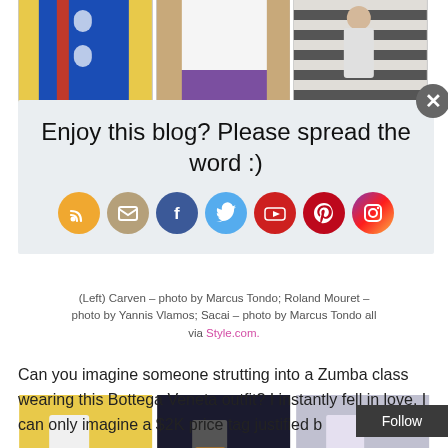[Figure (photo): Three fashion photos side by side at top: blue coat outfit, white blazer with purple skirt, striped shirt]
Enjoy this blog? Please spread the word :)
[Figure (infographic): Row of social media icons: RSS (orange), Email (tan/beige), Facebook (blue), Twitter (light blue), YouTube (red), Pinterest (red), Instagram (purple-red gradient)]
[Figure (photo): Three fashion photos showing lower halves: white shoes on yellow background, colorful shoes on dark background, black shoes on light background]
(Left) Carven – photo by Marcus Tondo; Roland Mouret – photo by Yannis Vlamos; Sacai – photo by Marcus Tondo all via Style.com.
Can you imagine someone strutting into a Zumba class wearing this Bottega Veneta outfit? I instantly fell in love. I can only imagine a $2K price tag justified b